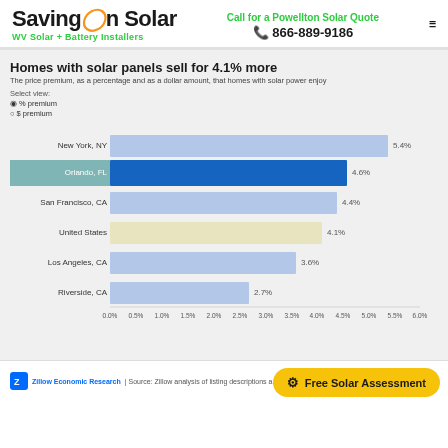SavingOnSolar — WV Solar + Battery Installers | Call for a Powellton Solar Quote | 866-889-9186
Homes with solar panels sell for 4.1% more
The price premium, as a percentage and as a dollar amount, that homes with solar power enjoy
Select view:
● % premium
○ $ premium
[Figure (bar-chart): Homes with solar panels sell for 4.1% more]
Zillow Economic Research | Source: Zillow analysis of listing descriptions...
Free Solar Assessment